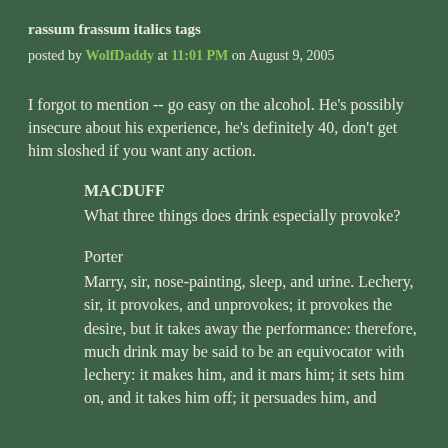rassum frassum italics tags
posted by WolfDaddy at 11:01 PM on August 9, 2005
I forgot to mention -- go easy on the alcohol. He's possibly insecure about his experience, he's definitely 40, don't get him sloshed if you want any action.
MACDUFF
What three things does drink especially provoke?
Porter
Marry, sir, nose-painting, sleep, and urine. Lechery, sir, it provokes, and unprovokes; it provokes the desire, but it takes away the performance: therefore, much drink may be said to be an equivocator with lechery: it makes him, and it mars him; it sets him on, and it takes him off; it persuades him, and